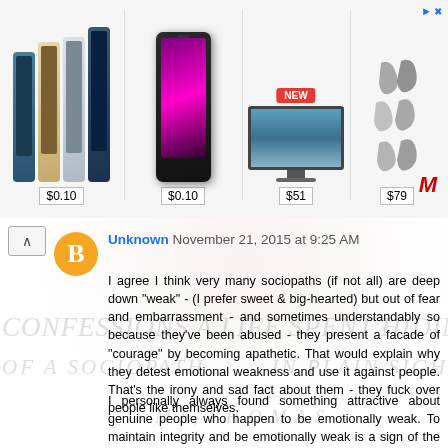[Figure (screenshot): Advertisement bar showing iPhone and other products with prices: $0.10, $0.10, $51, $79. A NEW badge is visible on the TV item. A Maverick logo appears at the right.]
Unknown November 21, 2015 at 9:25 AM
I agree I think very many sociopaths (if not all) are deep down "weak" - (I prefer sweet & big-hearted) but out of fear and embarrassment - and sometimes understandably so because they've been abused - they present a facade of "courage" by becoming apathetic. That would explain why they detest emotional weakness and use it against people. That's the irony and sad fact about them - they fuck over people like themselves.
I personally always found something attractive about genuine people who happen to be emotionally weak. To maintain integrity and be emotionally weak is a sign of the greatness as far